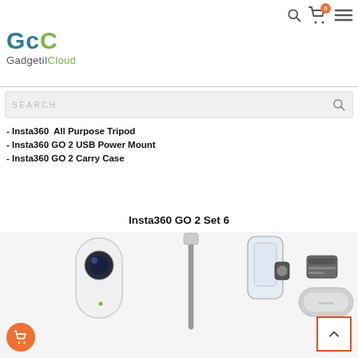GadgetiCloud website header with search, cart (0), and menu icons
[Figure (logo): GadgetiCloud logo — stylized GC letters in teal/green with GadgetiCloud text below]
[Figure (screenshot): Search bar with SEARCH placeholder text and magnifier icon]
- Insta360  All Purpose Tripod
- Insta360 GO 2 USB Power Mount
- Insta360 GO 2 Carry Case
Insta360 GO 2 Set 6
[Figure (photo): Insta360 GO 2 Set 6 product photo showing camera, mounting accessories, charging case, and carry case arranged in a row]